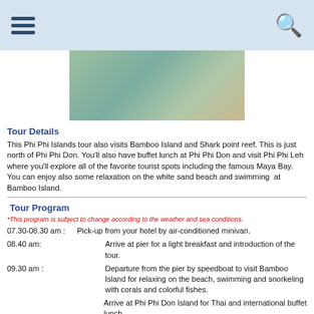Navigation menu and search icon
[Figure (photo): Aerial or close-up photo of water/beach scene with greenish-blue tones]
Tour Details
This Phi Phi Islands tour also visits Bamboo Island and Shark point reef. This is just north of Phi Phi Don. You'll also have buffet lunch at Phi Phi Don and visit Phi Phi Leh where you'll explore all of the favorite tourist spots including the famous Maya Bay. You can enjoy also some relaxation on the white sand beach and swimming  at Bamboo Island.
Tour Program
*This program is subject to change according to the weather and sea conditions.
07.30-08.30 am :    Pick-up from your hotel by air-conditioned minivan.
08.40 am:    Arrive at pier for a light breakfast and introduction of the tour.
09.30 am :    Departure from the pier by speedboat to visit Bamboo Island for relaxing on the beach, swimming and snorkeling with corals and colorful fishes.
Arrive at Phi Phi Don Island for Thai and international buffet lunch.